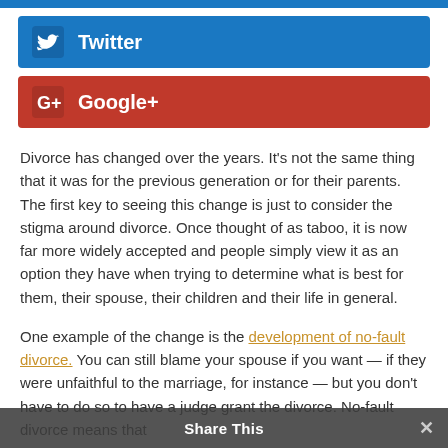[Figure (other): Twitter share button — blue button with bird icon and 'Twitter' label]
[Figure (other): Google+ share button — red button with G+ icon and 'Google+' label]
Divorce has changed over the years. It's not the same thing that it was for the previous generation or for their parents. The first key to seeing this change is just to consider the stigma around divorce. Once thought of as taboo, it is now far more widely accepted and people simply view it as an option they have when trying to determine what is best for them, their spouse, their children and their life in general.
One example of the change is the development of no-fault divorce. You can still blame your spouse if you want — if they were unfaithful to the marriage, for instance — but you don't have to do so to have a judge grant the divorce. No-fault divorce means that...
Share This ×